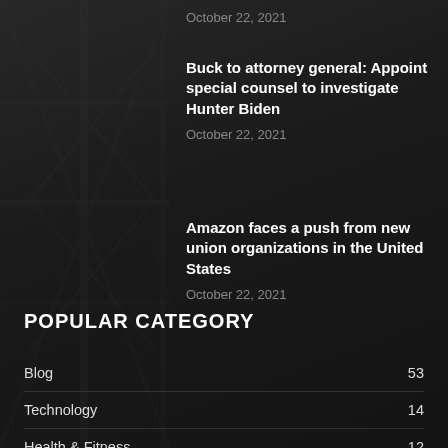October 22, 2021
Buck to attorney general: Appoint special counsel to investigate Hunter Biden
October 22, 2021
Amazon faces a push from new union organizations in the United States
October 22, 2021
POPULAR CATEGORY
Blog 53
Technology 14
Health & Fitness 12
Politics 10